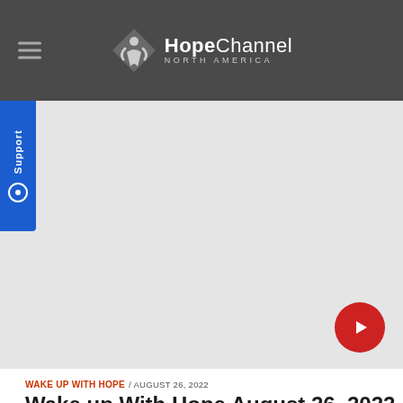[Figure (logo): Hope Channel North America logo with stylized figure icon and hamburger menu]
[Figure (photo): Light gray placeholder area for video/image content with red play button in bottom right]
WAKE UP WITH HOPE / AUGUST 26, 2022
Wake up With Hope August 26, 2022